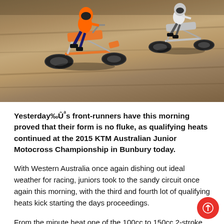[Figure (photo): Motocross riders on a sandy dirt track, aerial/elevated view showing two dirt bikes racing, with shadows on the brown sandy ground. Part of the 2015 KTM Australian Junior Motocross Championship in Bunbury.]
Yesterday‰Ûªs front-runners have this morning proved that their form is no fluke, as qualifying heats continued at the 2015 KTM Australian Junior Motocross Championship in Bunbury today.
With Western Australia once again dishing out ideal weather for racing, juniors took to the sandy circuit once again this morning, with the third and fourth lot of qualifying heats kick starting the days proceedings.
From the minute heat one of the 100cc to 150cc 2-stroke 13-u15 years class hit the track, onlookers were treated as Husqvarna Junior Racing Team‰Ûªs Callum Norton and